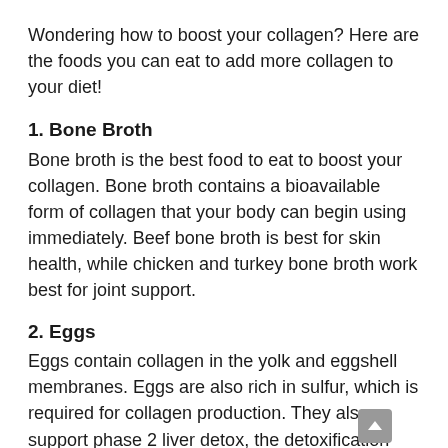Wondering how to boost your collagen? Here are the foods you can eat to add more collagen to your diet!
1. Bone Broth
Bone broth is the best food to eat to boost your collagen. Bone broth contains a bioavailable form of collagen that your body can begin using immediately. Beef bone broth is best for skin health, while chicken and turkey bone broth work best for joint support.
2. Eggs
Eggs contain collagen in the yolk and eggshell membranes. Eggs are also rich in sulfur, which is required for collagen production. They also support phase 2 liver detox, the detoxification phase where your body is getting ready to get rid of environmental toxins, which interfere with collagen production.